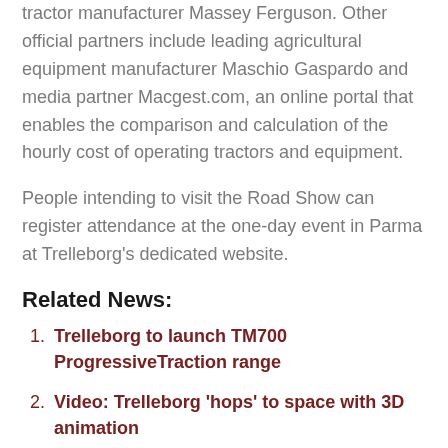tractor manufacturer Massey Ferguson. Other official partners include leading agricultural equipment manufacturer Maschio Gaspardo and media partner Macgest.com, an online portal that enables the comparison and calculation of the hourly cost of operating tractors and equipment.
People intending to visit the Road Show can register attendance at the one-day event in Parma at Trelleborg's dedicated website.
Related News:
Trelleborg to launch TM700 ProgressiveTraction range
Video: Trelleborg 'hops' to space with 3D animation
EIMA launch for Trelleborg TLC Plus app
Massey Ferguson concept wears Trelleborg carbon-free tyres